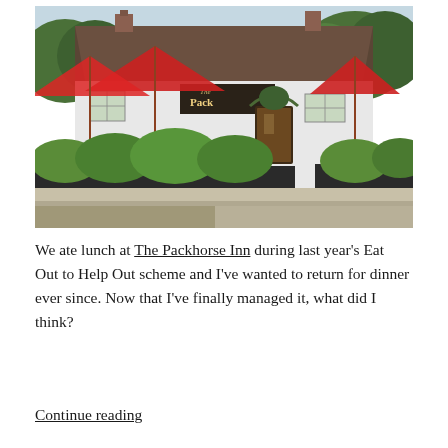[Figure (photo): Exterior photo of The Packhorse Inn pub, a white-painted building with dark tile roof, red parasols/umbrellas in the outdoor seating area, green shrubs in dark planters along the front, and a welcoming entrance with foliage-framed doorway. Trees visible in background under blue sky.]
We ate lunch at The Packhorse Inn during last year's Eat Out to Help Out scheme and I've wanted to return for dinner ever since. Now that I've finally managed it, what did I think?
Continue reading